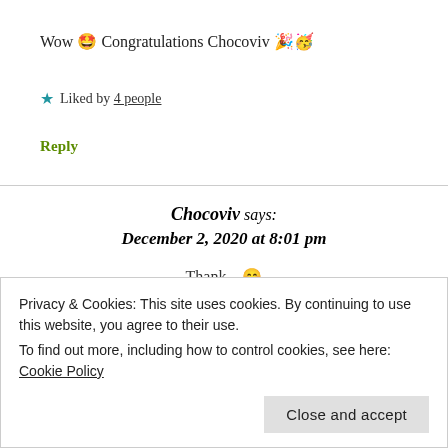Wow 🤩 Congratulations Chocoviv 🎉🥳
★ Liked by 4 people
Reply
Chocoviv says: December 2, 2020 at 8:01 pm
Thank... 😊
Privacy & Cookies: This site uses cookies. By continuing to use this website, you agree to their use.
To find out more, including how to control cookies, see here: Cookie Policy
Close and accept